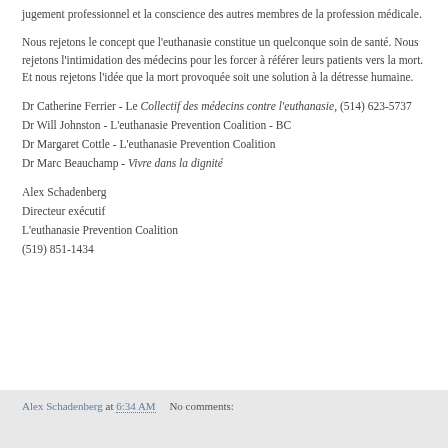jugement professionnel et la conscience des autres membres de la profession médicale.
Nous rejetons le concept que l'euthanasie constitue un quelconque soin de santé. Nous rejetons l'intimidation des médecins pour les forcer à référer leurs patients vers la mort. Et nous rejetons l'idée que la mort provoquée soit une solution à la détresse humaine.
Dr Catherine Ferrier - Le Collectif des médecins contre l'euthanasie, (514) 623-5737
Dr Will Johnston - L'euthanasie Prevention Coalition - BC
Dr Margaret Cottle - L'euthanasie Prevention Coalition
Dr Marc Beauchamp - Vivre dans la dignité
Alex Schadenberg
Directeur exécutif
L'euthanasie Prevention Coalition
(519) 851-1434
Alex Schadenberg at 6:34 AM    No comments: